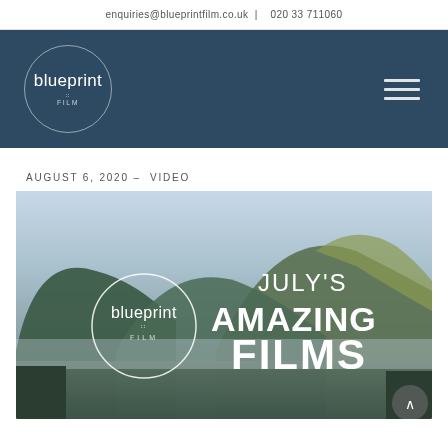enquiries@blueprintfilm.co.uk | 020 33 711060
[Figure (logo): Blueprint Film logo in navy blue navigation bar with circle logo on left and hamburger menu icon on right]
AUGUST 6, 2020 – VIDEO
[Figure (screenshot): July's Amazing Films promotional image showing mountains, lake and Blueprint Film logo overlay with text JULY'S AMAZING FILMS]